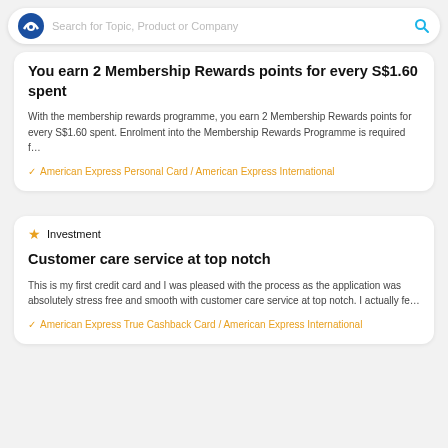Search for Topic, Product or Company
You earn 2 Membership Rewards points for every S$1.60 spent
With the membership rewards programme, you earn 2 Membership Rewards points for every S$1.60 spent. Enrolment into the Membership Rewards Programme is required f…
✓ American Express Personal Card / American Express International
★ Investment
Customer care service at top notch
This is my first credit card and I was pleased with the process as the application was absolutely stress free and smooth with customer care service at top notch. I actually fe…
✓ American Express True Cashback Card / American Express International